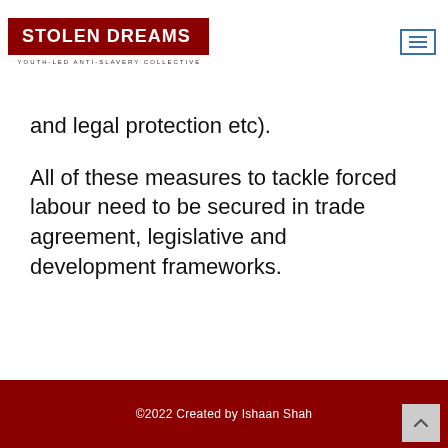STOLEN DREAMS — YOUTH-LED ANTI-SLAVERY COLLECTIVE
and legal protection etc).
All of these measures to tackle forced labour need to be secured in trade agreement, legislative and development frameworks.
©2022 Created by Ishaan Shah